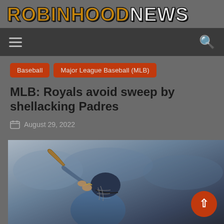ROBINHOOD NEWS
Baseball
Major League Baseball (MLB)
MLB: Royals avoid sweep by shellacking Padres
August 29, 2022
[Figure (photo): Baseball player swinging a bat, wearing a blue helmet, photographed in action during a game]